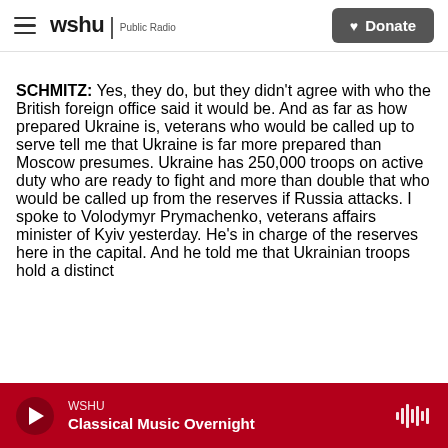wshu Public Radio | Donate
SCHMITZ: Yes, they do, but they didn't agree with who the British foreign office said it would be. And as far as how prepared Ukraine is, veterans who would be called up to serve tell me that Ukraine is far more prepared than Moscow presumes. Ukraine has 250,000 troops on active duty who are ready to fight and more than double that who would be called up from the reserves if Russia attacks. I spoke to Volodymyr Prymachenko, veterans affairs minister of Kyiv yesterday. He's in charge of the reserves here in the capital. And he told me that Ukrainian troops hold a distinct
WSHU | Classical Music Overnight